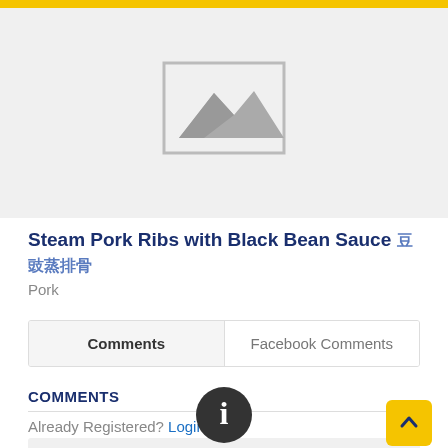[Figure (photo): Placeholder image with mountain/landscape icon in gray]
Steam Pork Ribs with Black Bean Sauce 豉汁蒸排骨
Pork
Comments | Facebook Comments
COMMENTS
Already Registered? Login Here